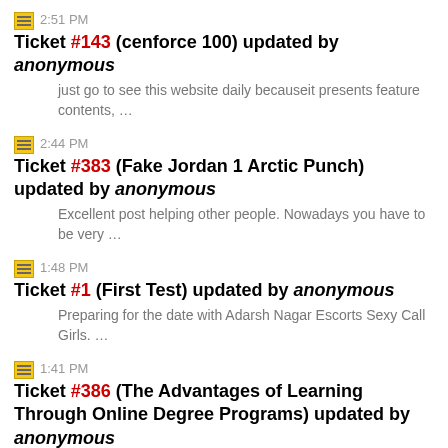2:51 PM Ticket #143 (cenforce 100) updated by anonymous
just go to see this website daily becauseit presents feature contents, …
2:44 PM Ticket #383 (Fake Jordan 1 Arctic Punch) updated by anonymous
Excellent post helping other people. Nowadays you have to be very …
1:48 PM Ticket #1 (First Test) updated by anonymous
Preparing for the date with Adarsh Nagar Escorts Sexy Call Girls. …
1:41 PM Ticket #386 (The Advantages of Learning Through Online Degree Programs) updated by anonymous
What a great post. Today it is true that we have a lot of help with …
1:41 PM Ticket #1 (First Test) updated by luxury escorts
Welcome to our Escorts world. If you are looking for dashing young …